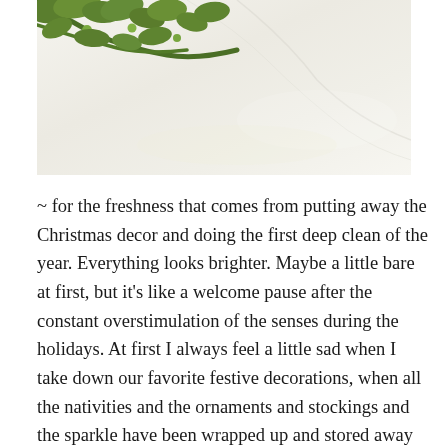[Figure (photo): Close-up photo of green olive or plant branches on a light marble or white surface, seen from above. The green leaves/branches are visible in the upper left, with a soft white/cream background.]
~ for the freshness that comes from putting away the Christmas decor and doing the first deep clean of the year. Everything looks brighter. Maybe a little bare at first, but it's like a welcome pause after the constant overstimulation of the senses during the holidays. At first I always feel a little sad when I take down our favorite festive decorations, when all the nativities and the ornaments and stockings and the sparkle have been wrapped up and stored away until next year. But there is a fresh beauty in the spaces between. I'm always inspired to mix things up a little, to try a different